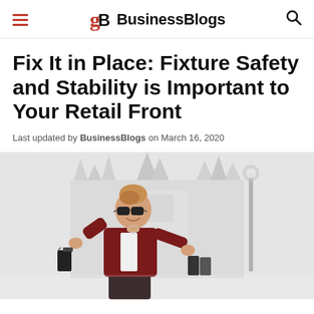BusinessBlogs
Fix It in Place: Fixture Safety and Stability is Important to Your Retail Front
Last updated by BusinessBlogs on March 16, 2020
[Figure (photo): Woman with sunglasses and shopping bags smiling outdoors in front of a Gothic cathedral (Milan Duomo), wearing a dark red jacket, holding shopping bags.]